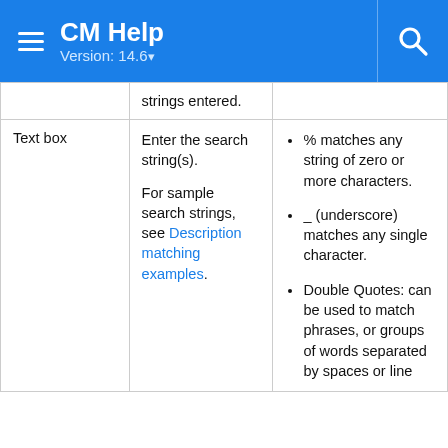CM Help Version: 14.6
|  | strings entered. |  |
| Text box | Enter the search string(s). For sample search strings, see Description matching examples. | % matches any string of zero or more characters.
_ (underscore) matches any single character.
Double Quotes: can be used to match phrases, or groups of words separated by spaces or line |